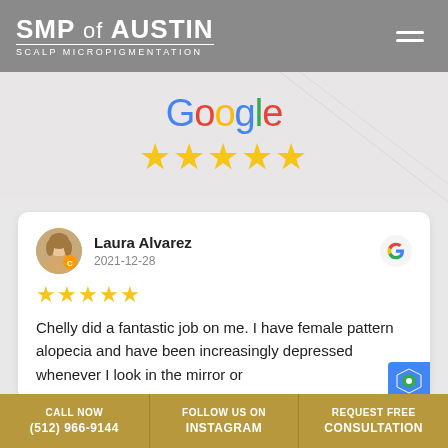SMP of AUSTIN SCALP MICROPIGMENTATION
[Figure (logo): Google logo with five gold stars rating]
Laura Alvarez
2021-12-28
★★★★★
Chelly did a fantastic job on me. I have female pattern alopecia and have been increasingly depressed whenever I look in the mirror or
CALL NOW (512) 966-9144 | FOLLOW US ON INSTAGRAM | REQUEST FREE CONSULTATION